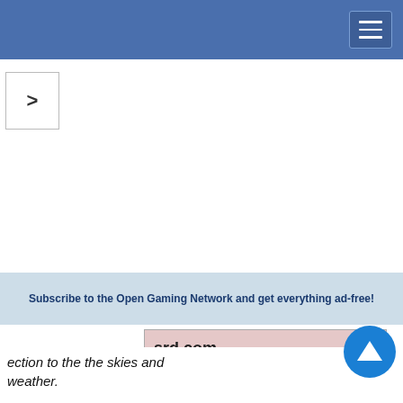[Figure (screenshot): Navigation arrow button showing a right-pointing chevron '>']
Subscribe to the Open Gaming Network and get everything ad-free!
[Figure (screenshot): Partial view of a pink/red box showing 'srd.com' and 'ased by' text with a link ending in 'mes']
This website uses cookies to provide functionality, but which are not used to track your activity. By continuing to use this site, you agree to the use of these cookies.

However, in addition to this, you may opt into your activity being tracked in order to help us improve our service.

For more information, please click here
OK   No, thank you
ection to the the skies and weather.